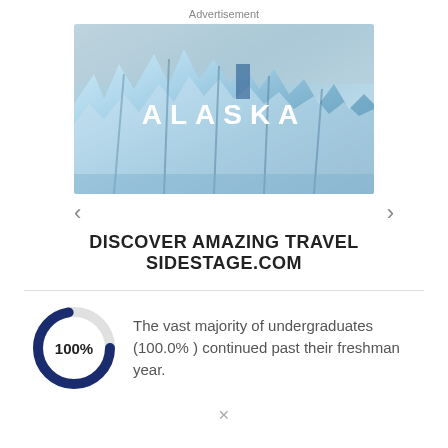Advertisement
[Figure (photo): Advertisement image showing blue glaciers/ice formations with the text 'ALASKA' overlaid in white bold letters. Navigation arrows on left and right.]
DISCOVER AMAZING TRAVEL SIDESTAGE.COM
[Figure (donut-chart): Freshman retention rate]
The vast majority of undergraduates (100.0% ) continued past their freshman year.